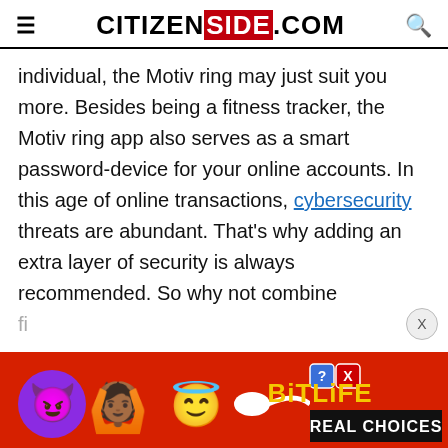CITIZENSIDE.COM
individual, the Motiv ring may just suit you more. Besides being a fitness tracker, the Motiv ring app also serves as a smart password-device for your online accounts. In this age of online transactions, cybersecurity threats are abundant. That's why adding an extra layer of security is always recommended. So why not combine fi...
[Figure (illustration): BitLife advertisement banner with emoji characters (devil, person raising hands, angel face, sperm emoji) on red background with BitLife logo and 'REAL CHOICES' text]